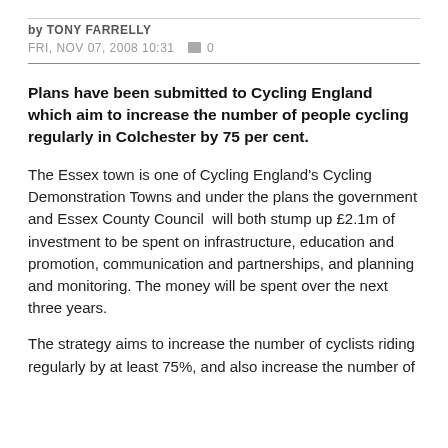by TONY FARRELLY
FRI, NOV 07, 2008 10:31  0
Plans have been submitted to Cycling England which aim to increase the number of people cycling regularly in Colchester by 75 per cent.
The Essex town is one of Cycling England's Cycling Demonstration Towns and under the plans the government and Essex County Council  will both stump up £2.1m of investment to be spent on infrastructure, education and promotion, communication and partnerships, and planning and monitoring. The money will be spent over the next three years.
The strategy aims to increase the number of cyclists riding regularly by at least 75%, and also increase the number of